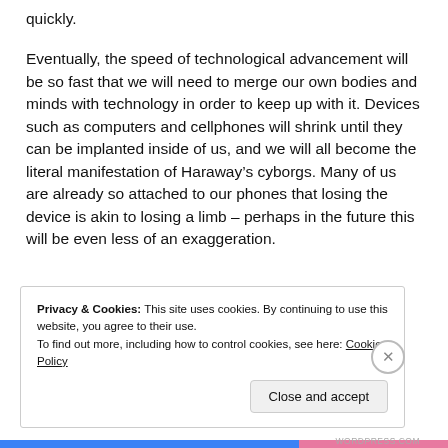quickly.
Eventually, the speed of technological advancement will be so fast that we will need to merge our own bodies and minds with technology in order to keep up with it. Devices such as computers and cellphones will shrink until they can be implanted inside of us, and we will all become the literal manifestation of Haraway’s cyborgs. Many of us are already so attached to our phones that losing the device is akin to losing a limb – perhaps in the future this will be even less of an exaggeration.
Privacy & Cookies: This site uses cookies. By continuing to use this website, you agree to their use. To find out more, including how to control cookies, see here: Cookie Policy
Close and accept